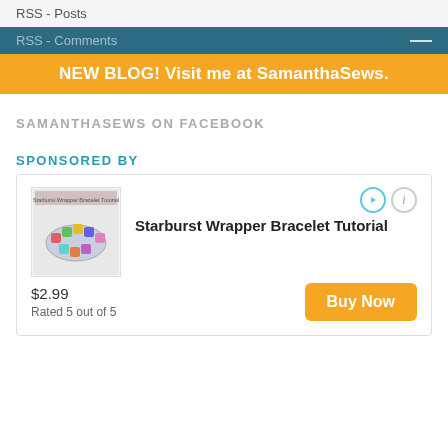RSS - Posts
RSS - Comments
NEW BLOG! Visit me at SamanthaSews.
SAMANTHASEWS ON FACEBOOK
SPONSORED BY
[Figure (infographic): Advertisement box showing Starburst Wrapper Bracelet Tutorial product with image, price $2.99, rated 5 out of 5, and Buy Now button]